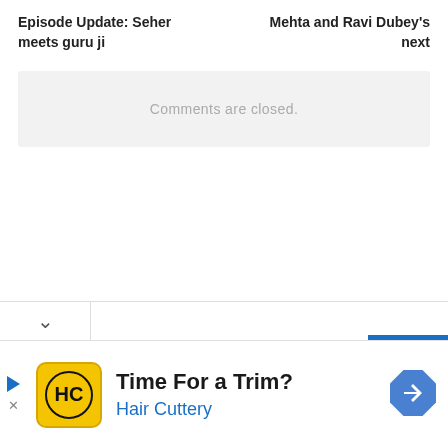Episode Update: Seher meets guru ji
Mehta and Ravi Dubey's next
Comments are closed.
[Figure (other): Navigation bottom bar with chevron/down arrow on left and blue horizontal bar on right]
[Figure (other): Advertisement banner: Hair Cuttery logo (HC in yellow circle), text 'Time For a Trim?' and 'Hair Cuttery' in blue, navigation arrow icon on right, play/close buttons on left edge]